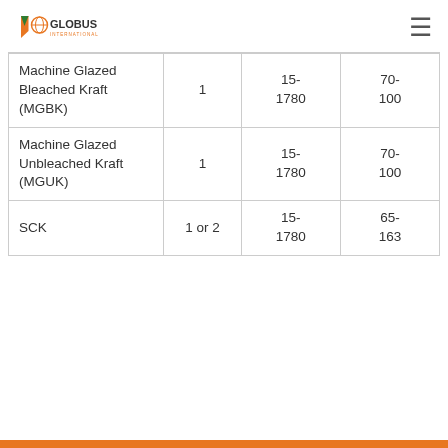Globus International
| Product | Layers | Width (mm) | GSM |
| --- | --- | --- | --- |
| Machine Glazed Bleached Kraft (MGBK) | 1 | 15-1780 | 70-100 |
| Machine Glazed Unbleached Kraft (MGUK) | 1 | 15-1780 | 70-100 |
| SCK | 1 or 2 | 15-1780 | 65-163 |